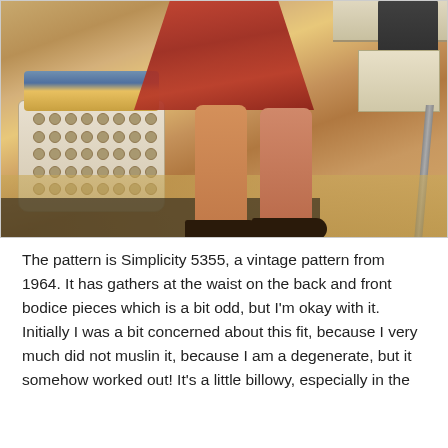[Figure (photo): Photo showing the lower half of a person wearing a red patterned dress and black flat shoes, standing in what appears to be a classroom or community room. A white laundry basket with fabric contents is visible on the left, and a school chair and table are visible on the right. The floor has a dark mat strip.]
The pattern is Simplicity 5355, a vintage pattern from 1964. It has gathers at the waist on the back and front bodice pieces which is a bit odd, but I'm okay with it. Initially I was a bit concerned about this fit, because I very much did not muslin it, because I am a degenerate, but it somehow worked out! It's a little billowy, especially in the